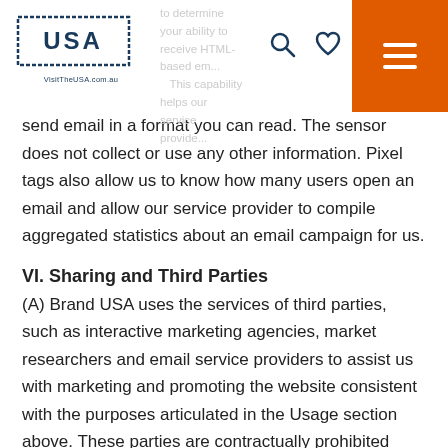VisitTheUSA.com.au header with logo and navigation
send email in a format you can read. The sensor does not collect or use any other information. Pixel tags also allow us to know how many users open an email and allow our service provider to compile aggregated statistics about an email campaign for us.
VI. Sharing and Third Parties
(A) Brand USA uses the services of third parties, such as interactive marketing agencies, market researchers and email service providers to assist us with marketing and promoting the website consistent with the purposes articulated in the Usage section above. These parties are contractually prohibited from using personally identifiable information for any purpose other than for the purpose Brand USA specifies. We do not permit the sale of